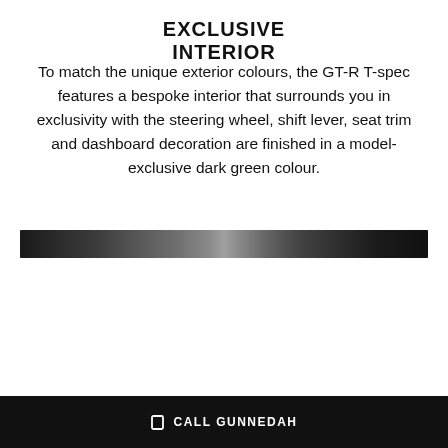EXCLUSIVE INTERIOR
To match the unique exterior colours, the GT-R T-spec features a bespoke interior that surrounds you in exclusivity with the steering wheel, shift lever, seat trim and dashboard decoration are finished in a model-exclusive dark green colour.
[Figure (photo): A narrow horizontal strip showing a close-up of a dark car interior surface, likely a steering wheel or dark trim piece, shown in black tones.]
CALL GUNNEDAH